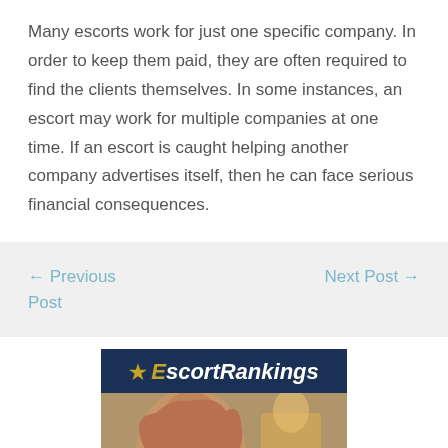Many escorts work for just one specific company. In order to keep them paid, they are often required to find the clients themselves. In some instances, an escort may work for multiple companies at one time. If an escort is caught helping another company advertises itself, then he can face serious financial consequences.
← Previous Post
Next Post →
[Figure (logo): EscortRankings banner advertisement with star logo and photo of a woman]